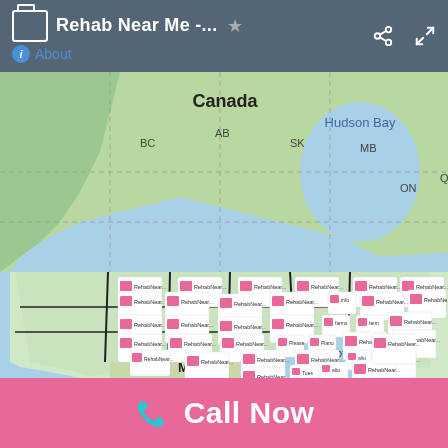Rehab Near Me -... About
[Figure (map): Google Maps screenshot showing North America (Canada, USA, Mexico) covered with numerous RehabNear.me logo marker pins across the United States. The map shows labeled regions: Canada, BC, AB, SK, MB, ON, QC, Hudson Bay, Gulf of Mexico, Mexico.]
Call Now